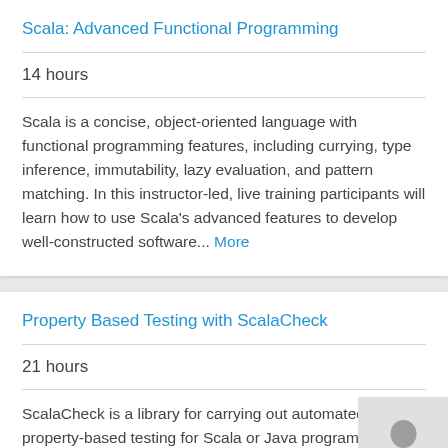Scala: Advanced Functional Programming
14 hours
Scala is a concise, object-oriented language with functional programming features, including currying, type inference, immutability, lazy evaluation, and pattern matching. In this instructor-led, live training participants will learn how to use Scala's advanced features to develop well-constructed software... More
Property Based Testing with ScalaCheck
21 hours
ScalaCheck is a library for carrying out automated, property-based testing for Scala or Java programs.